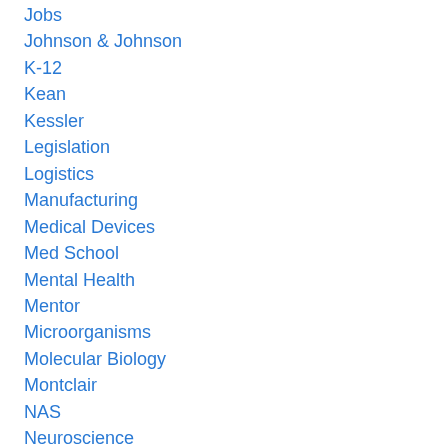Jobs
Johnson & Johnson
K-12
Kean
Kessler
Legislation
Logistics
Manufacturing
Medical Devices
Med School
Mental Health
Mentor
Microorganisms
Molecular Biology
Montclair
NAS
Neuroscience
Newark
New Jersey
NIFA
NIH